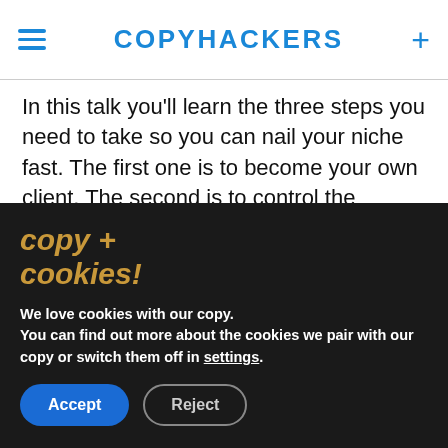COPYHACKERS
In this talk you’ll learn the three steps you need to take so you can nail your niche fast. The first one is to become your own client. The second is to control the narrative and the third is to streamline your services and your processes.
Step 1: Become Your Own Client
copy + cookies!
We love cookies with our copy.
You can find out more about the cookies we pair with our copy or switch them off in settings.
Accept  Reject